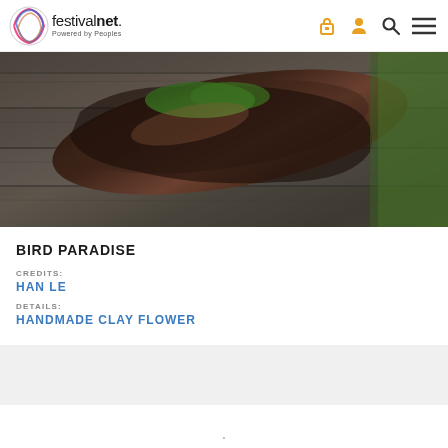festivalnet. Powered by Peoples
[Figure (photo): A grilled steak or meat dish on a wooden surface, photographed from above, with green herbs visible on top.]
BIRD PARADISE
CREDITS: HAN LE
DETAILS: HANDMADE CLAY FLOWER